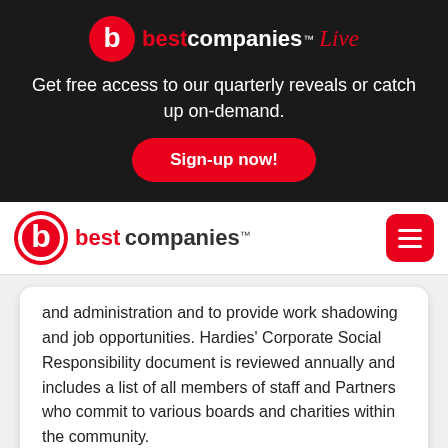[Figure (logo): Best Companies Live logo — red circle with white 'b', then 'best companies' with TM mark and italic 'Live' in red]
Get free access to our quarterly reveals or catch up on-demand.
Sign-up now!
[Figure (logo): Best Companies logo — red circle with white 'b', then 'best companies' text with TM mark]
and administration and to provide work shadowing and job opportunities. Hardies' Corporate Social Responsibility document is reviewed annually and includes a list of all members of staff and Partners who commit to various boards and charities within the community.